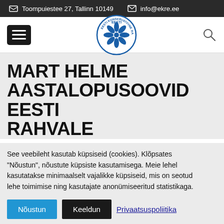Toompuiestee 27, Tallinn 10149   info@ekre.ee
[Figure (logo): EKRE - Eesti Konservatiivne Rahvaerakond circular logo with blue snowflake/cornflower emblem]
MART HELME AASTALOPUSOOVID EESTI RAHVALE
See veebileht kasutab küpsiseid (cookies). Klõpsates "Nõustun", nõustute küpsiste kasutamisega. Meie lehel kasutatakse minimaalselt vajalike küpsiseid, mis on seotud lehe toimimise ning kasutajate anonümiseeritud statistikaga.
Nõustun   Keeldun   Privaatsuspoliitika